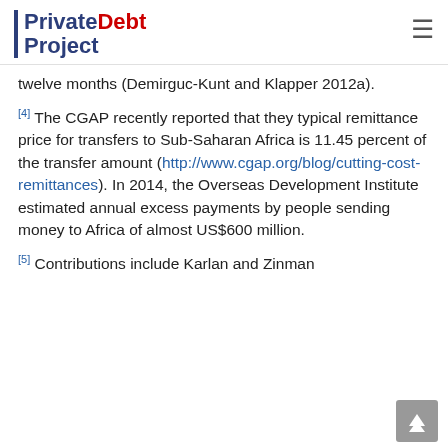PrivateDebt Project
twelve months (Demirguc-Kunt and Klapper 2012a).
[4] The CGAP recently reported that they typical remittance price for transfers to Sub-Saharan Africa is 11.45 percent of the transfer amount (http://www.cgap.org/blog/cutting-cost-remittances). In 2014, the Overseas Development Institute estimated annual excess payments by people sending money to Africa of almost US$600 million.
[5] Contributions include Karlan and Zinman